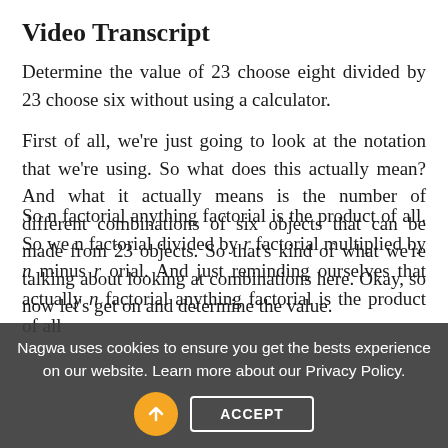Video Transcript
Determine the value of 23 choose eight divided by 23 choose six without using a calculator.
First of all, we’re just going to look at the notation that we’re using. So what does this actually mean? And what it actually means is the number of different combinations of six objects that can be made from 23 objects. So that’s kind of what we’re talking about looking at combinations here. Okay, so now let’s get on and determine the value.
So n factorial anything factorial is the product of all n factorial divided by r factorial multiplied by n minus r orial. And just reminding ourselves that actually n factorial anything factorial is the product of all
Nagwa uses cookies to ensure you get the bests experience on our website. Learn more about our Privacy Policy.